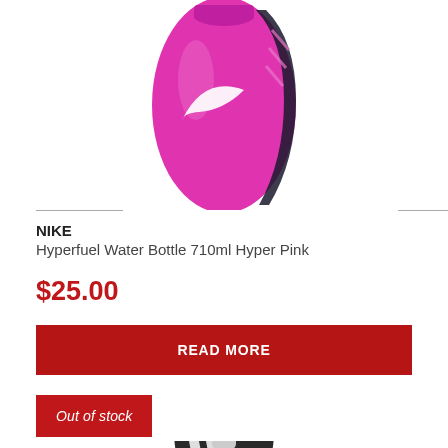[Figure (photo): Partial view of a Nike Hyperfuel pink water bottle against white background, top portion visible]
NIKE
Hyperfuel Water Bottle 710ml Hyper Pink
$25.00
READ MORE
Out of stock
[Figure (photo): Partial view of a Nike black and white water bottle, bottom portion visible]